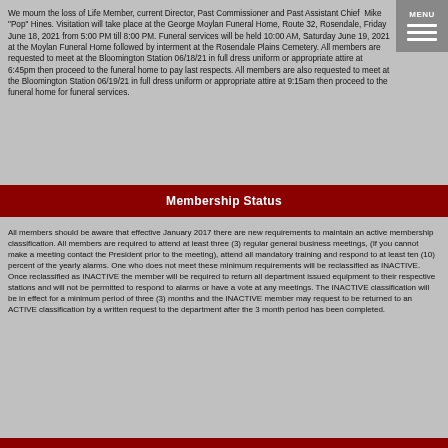We mourn the loss of Life Member, current Director, Past Commissioner and Past Assistant Chief  Mike "Pop" Hines. Visitation will take place at the George Moylan Funeral Home, Route 32, Rosendale, Friday June 18, 2021 from 5:00 PM till 8:00 PM. Funeral services will be held 10:00 AM, Saturday June 19, 2021 at the Moylan Funeral Home followed by interment at the Rosendale Plains Cemetery. All members are requested to meet at the Bloomington Station 06/18/21 in full dress uniform or appropriate attire at 6:45pm then proceed to the funeral home to pay last respects. All members are also requested to meet at the Bloomington Station 06/19/21 in full dress uniform or appropriate attire at 9:15am then proceed to the funeral home for funeral services.
Membership Status
All members should be aware that effective January 2017 there are new requirements to maintain an active membership classification. All members are required to attend at least three (3) regular general business meetings, (If you cannot make a meeting contact the President prior to the meeting), attend all mandatory training and respond to at least ten (10) percent of the yearly alarms. One who does not meet these minimum requirements will be reclassified as INACTIVE. Once reclassified as INACTIVE the member will be required to return all department issued equipment to their respective stations and will not be permitted to respond to alarms or have a vote at any meetings. The INACTIVE classification will be in effect for a minimum period of three (3) months and the INACTIVE member may request to be returned to an ACTIVE classification by a written request to the department after the 3 month period has been completed.